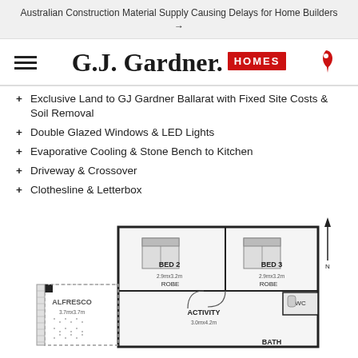Australian Construction Material Supply Causing Delays for Home Builders →
[Figure (logo): G.J. Gardner HOMES logo with hamburger menu and phone icon]
Exclusive Land to GJ Gardner Ballarat with Fixed Site Costs & Soil Removal
Double Glazed Windows & LED Lights
Evaporative Cooling & Stone Bench to Kitchen
Driveway & Crossover
Clothesline & Letterbox
[Figure (engineering-diagram): House floor plan showing BED 2 (2.9mx3.2m), BED 3 (2.9mx3.2m), ROBE x2, WC, BATH, ACTIVITY (3.0mx4.2m), ALFRESCO (3.7mx3.7m) areas with architectural symbols and north arrow]